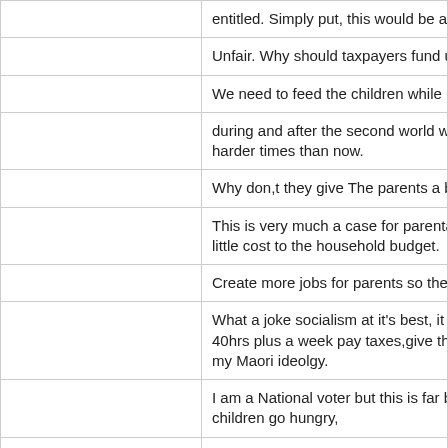entitled. Simply put, this would be another co
Unfair. Why should taxpayers fund unemploy
We need to feed the children while investiga
during and after the second world war, paren harder times than now.
Why don,t they give The parents a box of be
This is very much a case for parental respon little cost to the household budget.
Create more jobs for parents so they can tak
What a joke socialism at it's best, it should st 40hrs plus a week pay taxes,give them the fr my Maori ideolgy.
I am a National voter but this is far better the children go hungry,
Free school lunches give dead beat parents alcohol, instead of at least trying to be decen
Might encourage hungry kids to attend schoo